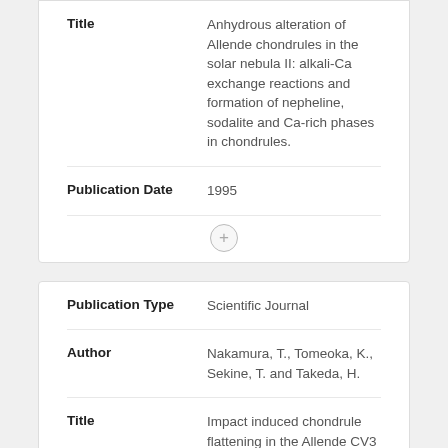| Field | Value |
| --- | --- |
| Title | Anhydrous alteration of Allende chondrules in the solar nebula II: alkali-Ca exchange reactions and formation of nepheline, sodalite and Ca-rich phases in chondrules. |
| Publication Date | 1995 |
| Field | Value |
| --- | --- |
| Publication Type | Scientific Journal |
| Author | Nakamura, T., Tomeoka, K., Sekine, T. and Takeda, H. |
| Title | Impact induced chondrule flattening in the Allende CV3 carbonaceous chondrite: shock experiments. |
| Publication Date | 1995 |
| Field | Value |
| --- | --- |
| Publication Type | Scientific Journal |